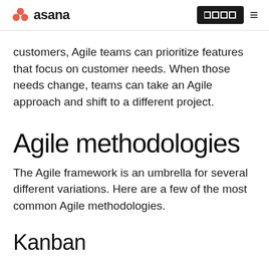asana
customers, Agile teams can prioritize features that focus on customer needs. When those needs change, teams can take an Agile approach and shift to a different project.
Agile methodologies
The Agile framework is an umbrella for several different variations. Here are a few of the most common Agile methodologies.
Kanban